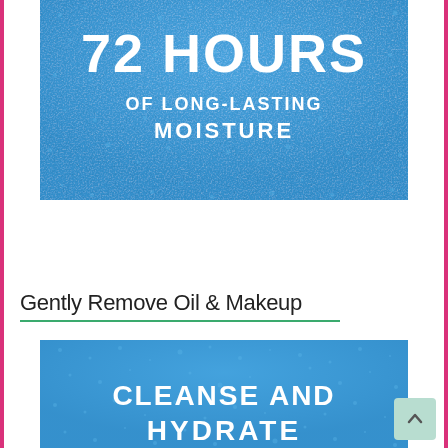[Figure (illustration): Blue textured background product image with white text reading '72 HOURS OF LONG-LASTING MOISTURE']
Gently Remove Oil & Makeup
[Figure (illustration): Blue textured background product image with white text reading 'CLEANSE AND HYDRATE' (partially visible)]